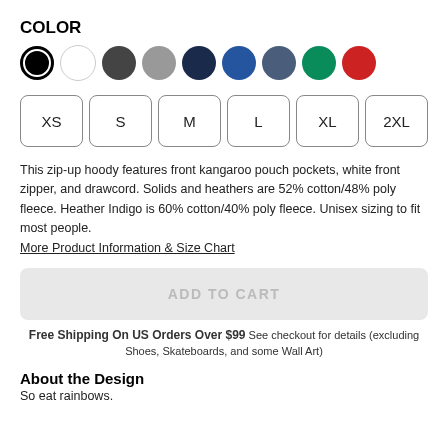COLOR
[Figure (infographic): Color swatches: black (selected), white, dark gray, gray, navy, blue, slate blue, green, red]
[Figure (infographic): Size selector buttons: XS, S, M, L, XL, 2XL]
This zip-up hoody features front kangaroo pouch pockets, white front zipper, and drawcord. Solids and heathers are 52% cotton/48% poly fleece. Heather Indigo is 60% cotton/40% poly fleece. Unisex sizing to fit most people. More Product Information & Size Chart
ADD TO CART
Free Shipping On US Orders Over $99 See checkout for details (excluding Shoes, Skateboards, and some Wall Art)
About the Design
So eat rainbows.